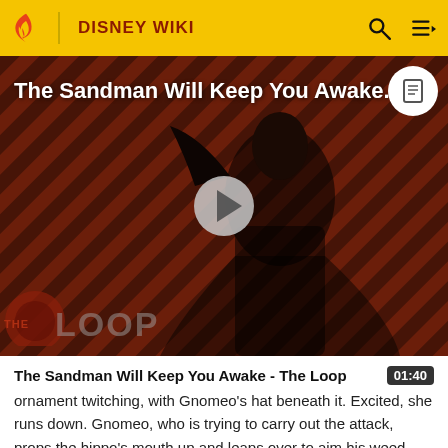DISNEY WIKI
[Figure (screenshot): Video thumbnail for 'The Sandman Will Keep You Awake - The Loop' showing a dark-robed figure against a red and black diagonal stripe background with 'THE LOOP' watermark. A play button is centered on the thumbnail.]
The Sandman Will Keep You Awake - The Loop  01:40
ornament twitching, with Gnomeo's hat beneath it. Excited, she runs down. Gnomeo, who is trying to carry out the attack, props the hippo's mouth up and leaps over to aim his weed-killer blaster at the Reds' prized tulips